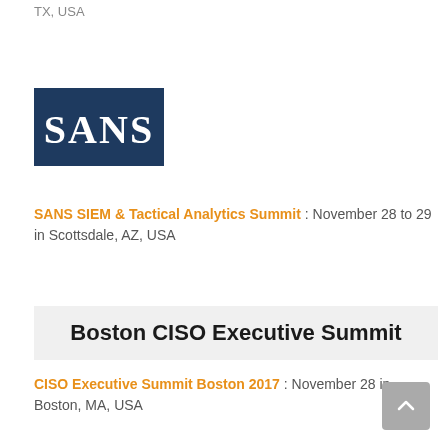TX, USA
[Figure (logo): SANS Institute logo — dark blue background with white 'SANS' text in serif font]
SANS SIEM & Tactical Analytics Summit : November 28 to 29 in Scottsdale, AZ, USA
[Figure (logo): Boston CISO Executive Summit banner — light grey background with bold black text 'Boston CISO Executive Summit']
CISO Executive Summit Boston 2017 : November 28 in Boston, MA, USA